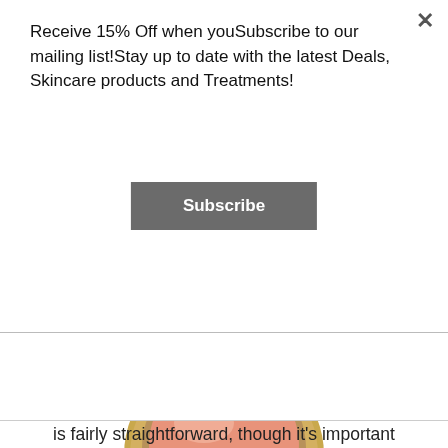Receive 15% Off when youSubscribe to our mailing list!Stay up to date with the latest Deals, Skincare products and Treatments!
Subscribe
[Figure (photo): An open round compact of peach/coral blush powder with a gold metallic case and clasp, photographed from above on a white background.]
This step is also optional. Blush helps make your beautiful face glow and look beautiful. Applying blush is fairly straightforward, though it's important